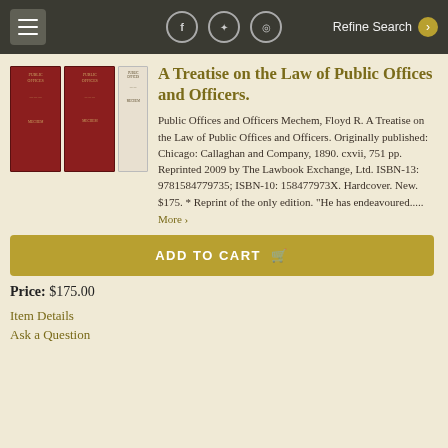Refine Search
[Figure (illustration): Two red hardcover books and one white/light hardcover book shown side by side]
A Treatise on the Law of Public Offices and Officers.
Public Offices and Officers Mechem, Floyd R. A Treatise on the Law of Public Offices and Officers. Originally published: Chicago: Callaghan and Company, 1890. cxvii, 751 pp. Reprinted 2009 by The Lawbook Exchange, Ltd. ISBN-13: 9781584779735; ISBN-10: 158477973X. Hardcover. New. $175. * Reprint of the only edition. "He has endeavoured.....
More >
ADD TO CART
Price: $175.00
Item Details
Ask a Question